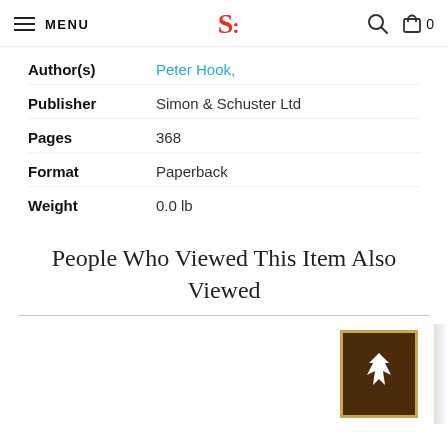MENU | S: | [search icon] | [cart] 0
| Field | Value |
| --- | --- |
| Author(s) | Peter Hook, |
| Publisher | Simon & Schuster Ltd |
| Pages | 368 |
| Format | Paperback |
| Weight | 0.0 lb |
People Who Viewed This Item Also Viewed
[Figure (photo): Book cover thumbnail with dark brown background, gold border, and a white bird/fox silhouette]